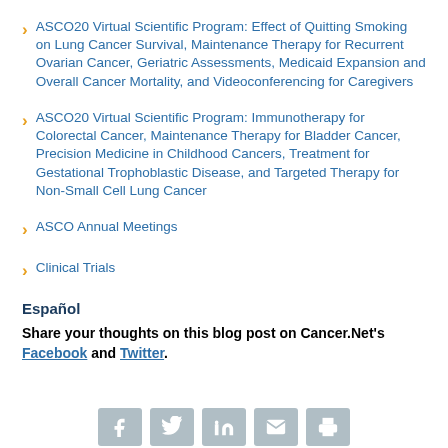ASCO20 Virtual Scientific Program: Effect of Quitting Smoking on Lung Cancer Survival, Maintenance Therapy for Recurrent Ovarian Cancer, Geriatric Assessments, Medicaid Expansion and Overall Cancer Mortality, and Videoconferencing for Caregivers
ASCO20 Virtual Scientific Program: Immunotherapy for Colorectal Cancer, Maintenance Therapy for Bladder Cancer, Precision Medicine in Childhood Cancers, Treatment for Gestational Trophoblastic Disease, and Targeted Therapy for Non-Small Cell Lung Cancer
ASCO Annual Meetings
Clinical Trials
Español
Share your thoughts on this blog post on Cancer.Net's Facebook and Twitter.
[Figure (other): Row of 5 social media sharing icon buttons (Facebook, Twitter, LinkedIn, Email, Print) in grey boxes at the bottom of the page]